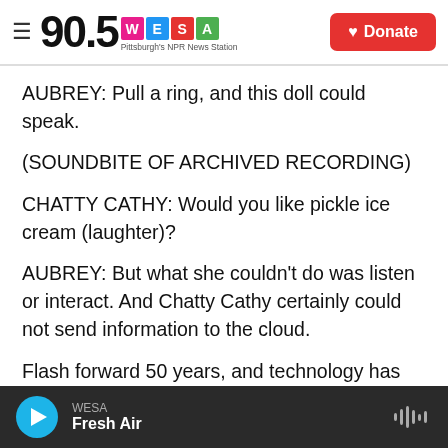90.5 WESA Pittsburgh's NPR News Station | Donate
AUBREY: Pull a ring, and this doll could speak.
(SOUNDBITE OF ARCHIVED RECORDING)
CHATTY CATHY: Would you like pickle ice cream (laughter)?
AUBREY: But what she couldn't do was listen or interact. And Chatty Cathy certainly could not send information to the cloud.
Flash forward 50 years, and technology has changed. Mattel's latest device, something the
WESA Fresh Air